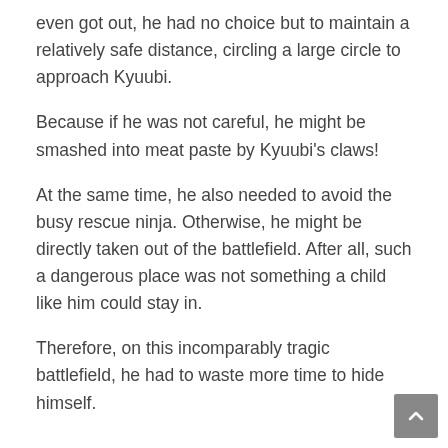even got out, he had no choice but to maintain a relatively safe distance, circling a large circle to approach Kyuubi.
Because if he was not careful, he might be smashed into meat paste by Kyuubi's claws!
At the same time, he also needed to avoid the busy rescue ninja. Otherwise, he might be directly taken out of the battlefield. After all, such a dangerous place was not something a child like him could stay in.
Therefore, on this incomparably tragic battlefield, he had to waste more time to hide himself.
..........
At this moment, a long and thick stick suddenly flew over.